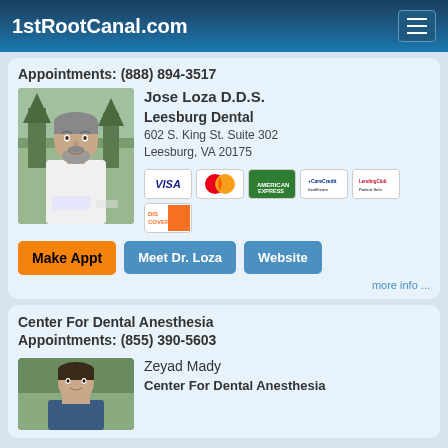1stRootCanal.com
Appointments: (888) 894-3517
[Figure (photo): Photo of Dr. Jose Loza in white coat]
Jose Loza D.D.S.
Leesburg Dental
602 S. King St. Suite 302
Leesburg, VA 20175
[Figure (infographic): Payment method icons: VISA, MasterCard, Amex, CareCredit, LendingClub, Discover]
Make Appt
Meet Dr. Loza
Website
more info ...
Center For Dental Anesthesia
Appointments: (855) 390-5603
[Figure (photo): Photo of Zeyad Mady]
Zeyad Mady
Center For Dental Anesthesia